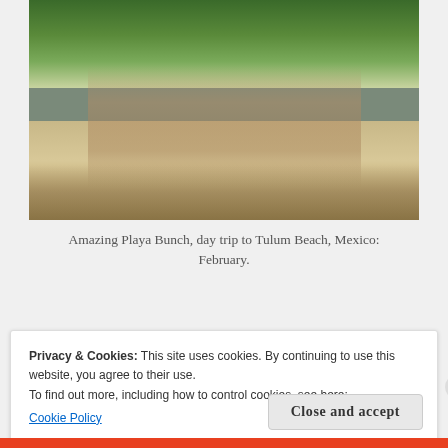[Figure (photo): Group of people posing on a beach with palm trees in the background, with beach belongings scattered on the sand in the foreground. Tulum Beach, Mexico.]
Amazing Playa Bunch, day trip to Tulum Beach, Mexico: February.
The rules of attraction for... What... to lit...
Privacy & Cookies: This site uses cookies. By continuing to use this website, you agree to their use.
To find out more, including how to control cookies, see here:
Cookie Policy
Close and accept